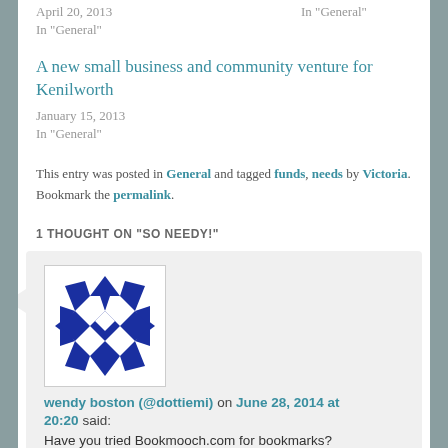April 20, 2013
In "General"
In "General"
A new small business and community venture for Kenilworth
January 15, 2013
In "General"
This entry was posted in General and tagged funds, needs by Victoria. Bookmark the permalink.
1 THOUGHT ON “SO NEEDY!”
[Figure (illustration): Blue geometric avatar with diamond/star pattern for user wendy boston (@dottiemi)]
wendy boston (@dottiemi) on June 28, 2014 at 20:20 said: Have you tried Bookmooch.com for bookmarks?